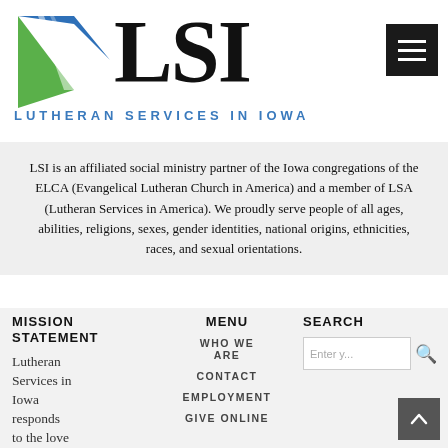[Figure (logo): LSI Lutheran Services in Iowa logo with blue and green swoosh graphic and large LSI text]
LSI is an affiliated social ministry partner of the Iowa congregations of the ELCA (Evangelical Lutheran Church in America) and a member of LSA (Lutheran Services in America). We proudly serve people of all ages, abilities, religions, sexes, gender identities, national origins, ethnicities, races, and sexual orientations.
MISSION STATEMENT
Lutheran Services in Iowa responds to the love
MENU
WHO WE ARE
CONTACT
EMPLOYMENT
GIVE ONLINE
SEARCH